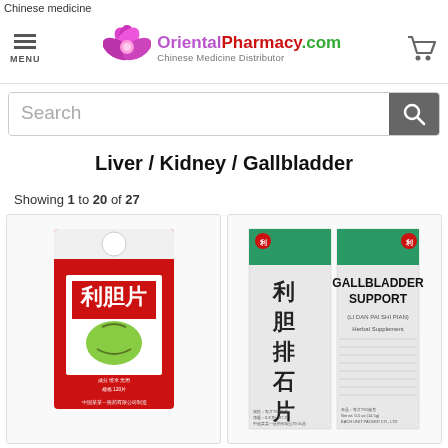Chinese medicine
[Figure (screenshot): OrientalPharmacy.com website header with flower logo, site name, Chinese Medicine Distributor tagline, hamburger menu icon, and shopping cart icon]
[Figure (screenshot): Search bar with magnifying glass button]
Liver / Kidney / Gallbladder
Showing 1 to 20 of 27
[Figure (photo): Red and white Chinese medicine box with Chinese characters and illustration of a gallbladder]
[Figure (photo): Green and white box labeled Gallbladder Support (Li Dan Pai Shi Pian), Herbal Supplement, with Chinese characters]